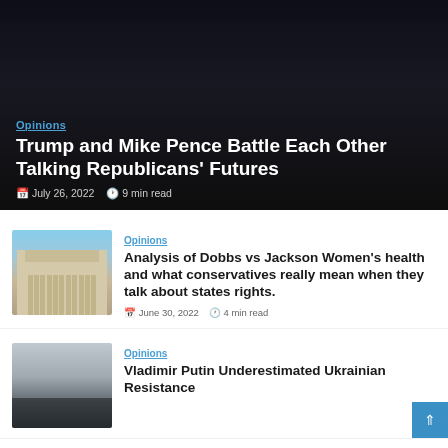[Figure (photo): Dark photo of Mike Pence pointing at the camera, wearing a suit with a red tie, with American flag stars visible in the background]
Opinions
Trump and Mike Pence Battle Each Other Talking Republicans' Futures
July 26, 2022  9 min read
[Figure (photo): Photo of the United States Supreme Court building with columns and steps]
Opinions
Analysis of Dobbs vs Jackson Women's health and what conservatives really mean when they talk about states rights.
June 30, 2022  4 min read
[Figure (photo): Black and white or dark photo of people gathered, possibly a historical Russian or Ukrainian scene]
Opinions
Vladimir Putin Underestimated Ukrainian Resistance